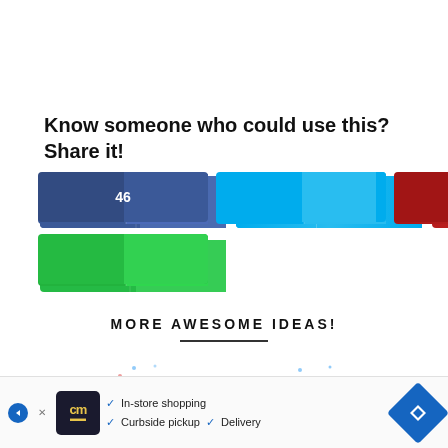Know someone who could use this? Share it!
[Figure (infographic): Social share buttons: Facebook (46), Twitter, Pinterest (13792), Google+, WhatsApp, and a pink email button with envelope icon]
MORE AWESOME IDEAS!
[Figure (illustration): Partial card preview with decorative dots and italic text 'It Only Happens Once:' with a red arc/rainbow below]
[Figure (infographic): Advertisement bar: blue arrow, cm logo, checkmarks for In-store shopping, Curbside pickup, Delivery, blue diamond navigation icon]